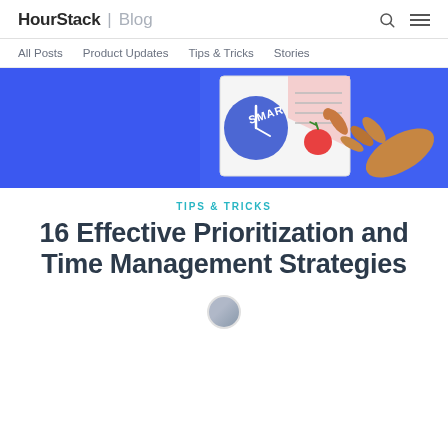HourStack | Blog
All Posts   Product Updates   Tips & Tricks   Stories
[Figure (illustration): A hand pointing at a colorful planning board/poster with SMART text visible and a tomato (Pomodoro) graphic, set against a bright blue background.]
TIPS & TRICKS
16 Effective Prioritization and Time Management Strategies